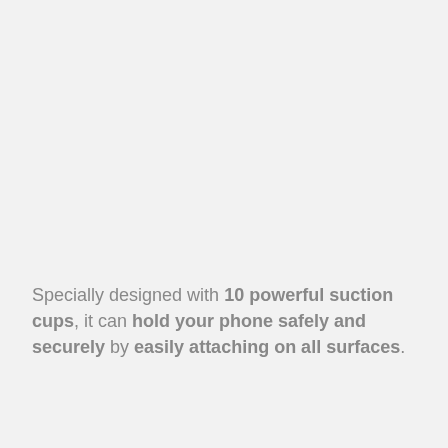Specially designed with 10 powerful suction cups, it can hold your phone safely and securely by easily attaching on all surfaces.